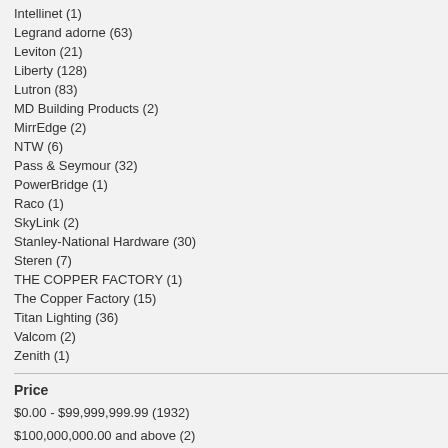Intellinet (1)
Legrand adorne (63)
Leviton (21)
Liberty (128)
Lutron (83)
MD Building Products (2)
MirrEdge (2)
NTW (6)
Pass & Seymour (32)
PowerBridge (1)
Raco (1)
SkyLink (2)
Stanley-National Hardware (30)
Steren (7)
THE COPPER FACTORY (1)
The Copper Factory (15)
Titan Lighting (36)
Valcom (2)
Zenith (1)
Price
$0.00 - $99,999,999.99 (1932)
$100,000,000.00 and above (2)
$17.75
$13
ADD TO CART
A
Add to Wishlist
Add to Compare
A
A
Liberty Architectural 2-Gang and 1 Toggle Combination Wall Plate - 71057
ArtP Out Wa
$6.62
$15
ADD TO CART
A
Add to Wishlist
Add to Compare
A
A